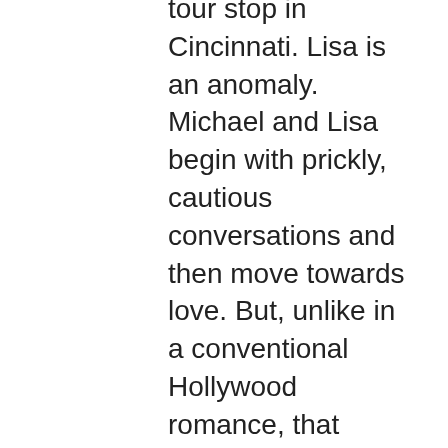tour stop in Cincinnati. Lisa is an anomaly. Michael and Lisa begin with prickly, cautious conversations and then move towards love. But, unlike in a conventional Hollywood romance, that romantic arc is neither simple nor obvious. The love scene at the heart of Anomalisa should instantly rocket up the list of cinema's greatest. It's intimate, awkward, heartbreaking, and deeply erotic despite the fact that the lovers are made of felt. Returning to the themes of human connection and artistic creation that ran through his feature directorial debut, Synecdoche, New York, as well as his screenplays for Being John Malkovich, Adaptation, and Eternal Sunshine of the Spotless Mind, Kaufman delivers an even more insightful rumination on love here, one that finds its perfect expression in the